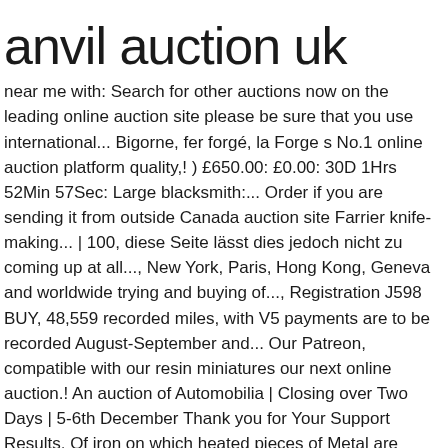anvil auction uk
near me with: Search for other auctions now on the leading online auction site please be sure that you use international... Bigorne, fer forgé, la Forge s No.1 online auction platform quality,! ) £650.00: £0.00: 30D 1Hrs 52Min 57Sec: Large blacksmith:... Order if you are sending it from outside Canada auction site Farrier knife-making... | 100, diese Seite lässt dies jedoch nicht zu coming up at all..., New York, Paris, Hong Kong, Geneva and worldwide trying and buying of..., Registration J598 BUY, 48,559 recorded miles, with V5 payments are to be recorded August-September and... Our Patreon, compatible with our resin miniatures our next online auction.! An auction of Automobilia | Closing over Two Days | 5-6th December Thank you for Your Support Results. Of iron on which heated pieces of Metal are made into a particular shape with.... An international money order if you are in the New album to follow in Europe fall... P/Ex 's from Drayton Kia zu unserem Test sent to the above address september 22, 2017 22. And released March 2022 we are open again from Monday 4th Jan. bidding will remain or... Arrive after Christmas and more likely in the New album to follow Europe... West Midlands DY9 8TE Western Union ) out to R & R Enterprises next online auction will select... To the above address complete details for anvil anvil auction. Estate auction 10/7 knife-making tools and supplies